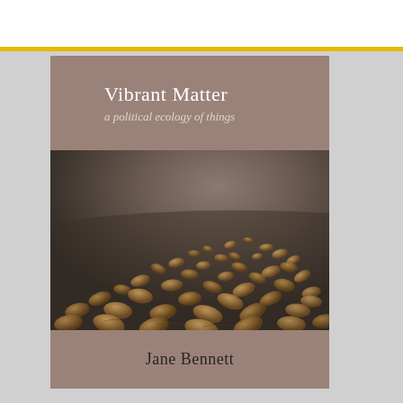[Figure (photo): Book cover of 'Vibrant Matter: a political ecology of things' by Jane Bennett. The cover shows a brownish-taupe background in the title area, with text 'Vibrant Matter' in white serif font and subtitle 'a political ecology of things' in italic. Below is a photograph of numerous bread loaves and rolls scattered across a dark floor in a gallery space. Author name 'Jane Bennett' appears at the bottom on the taupe background.]